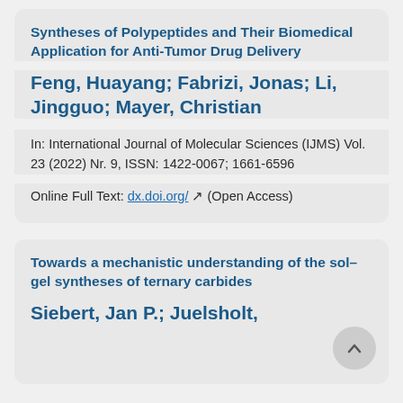Syntheses of Polypeptides and Their Biomedical Application for Anti-Tumor Drug Delivery
Feng, Huayang; Fabrizi, Jonas; Li, Jingguo; Mayer, Christian
In: International Journal of Molecular Sciences (IJMS) Vol. 23 (2022) Nr. 9, ISSN: 1422-0067; 1661-6596
Online Full Text: dx.doi.org/ (Open Access)
Towards a mechanistic understanding of the sol–gel syntheses of ternary carbides
Siebert, Jan P.; Juelsholt,